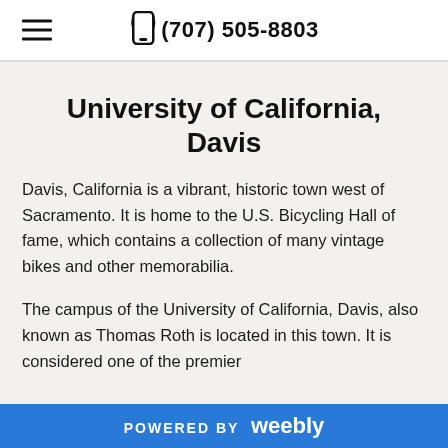(707) 505-8803
University of California, Davis
Davis, California is a vibrant, historic town west of Sacramento. It is home to the U.S. Bicycling Hall of fame, which contains a collection of many vintage bikes and other memorabilia.
The campus of the University of California, Davis, also known as Thomas Roth is located in this town. It is considered one of the premier
POWERED BY weebly